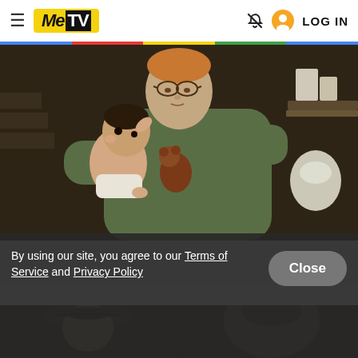MeTV — LOG IN
[Figure (photo): A man in a military olive-green uniform with sergeant chevrons holding an infant baby in a diaper and a small stuffed animal, in a dark indoor setting resembling the TV show M*A*S*H.]
Aww: Part 2
The Merchant of Korea
By using our site, you agree to our Terms of Service and Privacy Policy
[Figure (photo): Two men in military attire in an indoor scene, one wearing a hat, from the TV show M*A*S*H.]